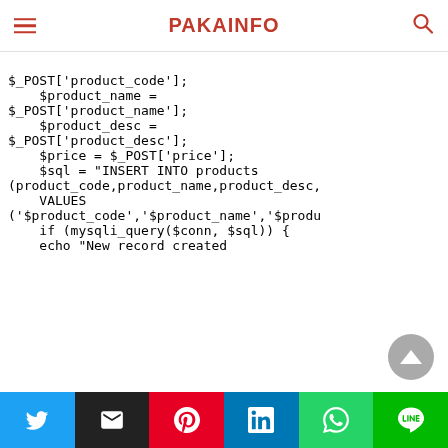PAKAINFO
$_POST['product_code'];
    $product_name =
$_POST['product_name'];
    $product_desc =
$_POST['product_desc'];
    $price = $_POST['price'];
    $sql = "INSERT INTO products
(product_code,product_name,product_desc,
    VALUES
('$product_code','$product_name','$produ
    if (mysqli_query($conn, $sql)) {
    echo "New record created